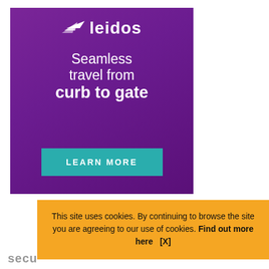[Figure (illustration): Leidos advertisement banner with purple gradient background, paper airplane logo, the text 'Seamless travel from curb to gate', and a teal 'LEARN MORE' button]
This site uses cookies. By continuing to browse the site you are agreeing to our use of cookies. Find out more here    [X]
secu